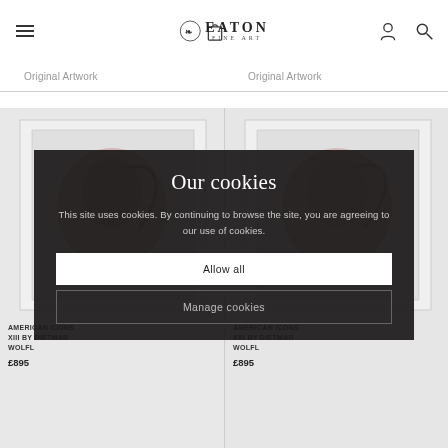Eaton Fine Art — website header with navigation icons
Original Artwork  |  Original Artwork
[Figure (screenshot): Cookie consent overlay on Eaton Fine Art website showing two artwork product columns partially visible behind a dark semi-transparent modal dialog]
Our cookies
This site uses cookies. By continuing to browse the site, you are agreeing to our use of cookies.
Allow all
Manage cookies
AMERICAN ICONS XIII BY DIETMAR WOLFL  £895
AMERICAN ICONS XXI BY DIETMAR WOLFL  £895